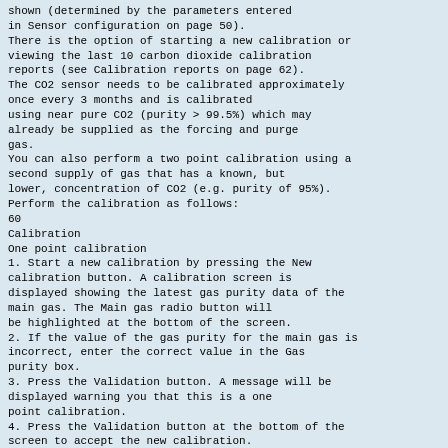shown (determined by the parameters entered
in Sensor configuration on page 50).
There is the option of starting a new calibration or
viewing the last 10 carbon dioxide calibration
reports (see Calibration reports on page 62).
The CO2 sensor needs to be calibrated approximately
once every 3 months and is calibrated
using near pure CO2 (purity > 99.5%) which may
already be supplied as the forcing and purge
gas.
You can also perform a two point calibration using a
second supply of gas that has a known, but
lower, concentration of CO2 (e.g. purity of 95%).
Perform the calibration as follows:
60
Calibration
One point calibration
1. Start a new calibration by pressing the New
calibration button. A calibration screen is
displayed showing the latest gas purity data of the
main gas. The Main gas radio button will
be highlighted at the bottom of the screen.
2. If the value of the gas purity for the main gas is
incorrect, enter the correct value in the Gas
purity box.
3. Press the Validation button. A message will be
displayed warning you that this is a one
point calibration.
4. Press the Validation button at the bottom of the
screen to accept the new calibration.
Once the calibration has completed a calibration
report is created.
Two point calibration